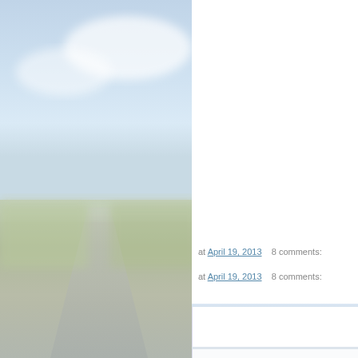[Figure (photo): Blurred landscape photo showing a road receding into the distance with a light blue sky and flat countryside, taking up the left portion of the page]
[Figure (photo): Partial photo in top right corner showing what appears to be a dark circular industrial or agricultural object]
at April 19, 2013    8 comments:
Salesman Joke
From a buddy of mine.....
A young guy from North Dak... "everything under one roof"
The Manager says, "Do you h... "Yeah. I was a vacuum salesm...
Well, the boss was unsure, b...